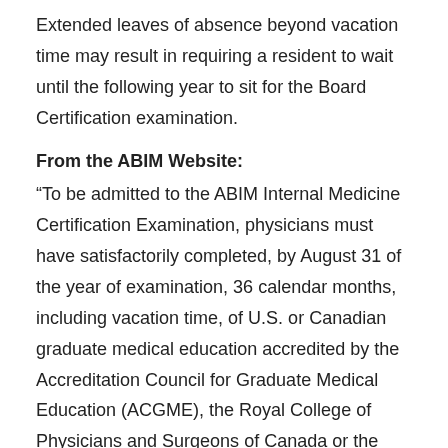Extended leaves of absence beyond vacation time may result in requiring a resident to wait until the following year to sit for the Board Certification examination.
From the ABIM Website:
“To be admitted to the ABIM Internal Medicine Certification Examination, physicians must have satisfactorily completed, by August 31 of the year of examination, 36 calendar months, including vacation time, of U.S. or Canadian graduate medical education accredited by the Accreditation Council for Graduate Medical Education (ACGME), the Royal College of Physicians and Surgeons of Canada or the Collège des médecins du Québec. Residency or research experience occurring before completion of the requirements for the MD or DO degree cannot be credited toward the requirements for certification. The 36 months of residency training must